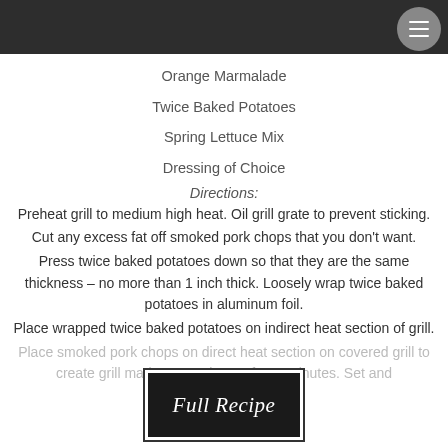Orange Marmalade
Twice Baked Potatoes
Spring Lettuce Mix
Dressing of Choice
Directions:
Preheat grill to medium high heat.  Oil grill grate to prevent sticking.
Cut any excess fat off smoked pork chops that you don't want.
Press twice baked potatoes down so that they are the same thickness – no more than 1 inch thick.  Loosely wrap twice baked potatoes in aluminum foil.
Place wrapped twice baked potatoes on indirect heat section of grill.
Place smoked pork chops on direct heat section on covered grill to create grill marks.  Turn chops after 4 minutes.  Set and
[Figure (other): Black button with white cursive text reading 'Full Recipe']